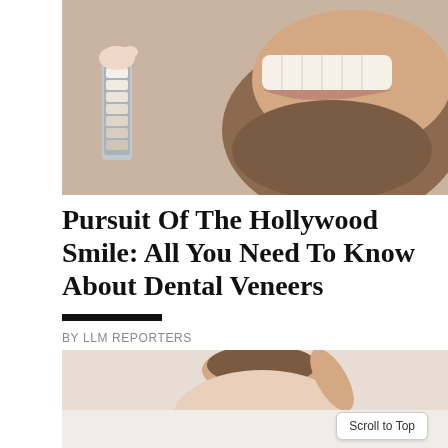[Figure (photo): Close-up photo of a bearded man smiling while a hand holds a dental veneer shade guide up to his teeth for color matching]
Pursuit Of The Hollywood Smile: All You Need To Know About Dental Veneers
BY LLM REPORTERS
[Figure (photo): Partial photo of a woman lying down, appearing relaxed, shown from shoulders up with hand near head]